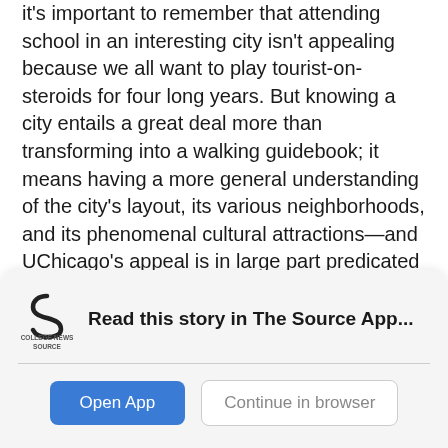it's important to remember that attending school in an interesting city isn't appealing because we all want to play tourist-on-steroids for four long years. But knowing a city entails a great deal more than transforming into a walking guidebook; it means having a more general understanding of the city's layout, its various neighborhoods, and its phenomenal cultural attractions—and UChicago's appeal is in large part predicated on this unadulterated access to the thriving city of Chicago. It's a shame that you can get away with living in it without learning about it, and it's about time we became more proactive about changing this state of affairs.
[Figure (logo): College News Source logo — a stylized 'S' shape in dark gray/black above the text 'COLLEGE NEWS SOURCE']
Read this story in The Source App...
Open App
Continue in browser